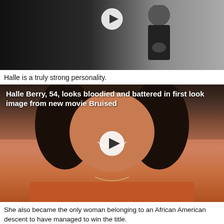[Figure (photo): Black and white photo of a person in dark clothing with a video play button overlay]
Halle is a truly strong personality.
[Figure (photo): Photo of Halle Berry smiling, wearing an orange outfit, with a text overlay reading 'Halle Berry, 54, looks bloodied and battered in first look image from new movie Bruised' and a video play button overlay]
She also became the only woman belonging to an African American descent to have managed to win the title.